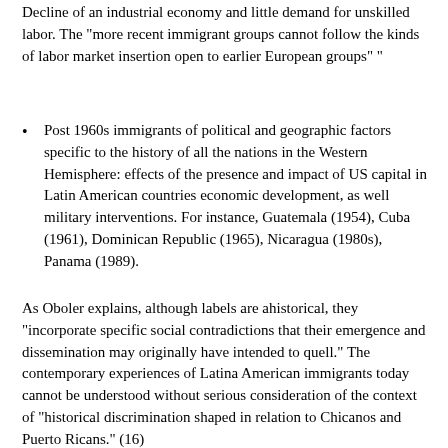Decline of an industrial economy and little demand for unskilled labor. The "more recent immigrant groups cannot follow the kinds of labor market insertion open to earlier European groups" "
Post 1960s immigrants of political and geographic factors specific to the history of all the nations in the Western Hemisphere: effects of the presence and impact of US capital in Latin American countries economic development, as well military interventions. For instance, Guatemala (1954), Cuba (1961), Dominican Republic (1965), Nicaragua (1980s), Panama (1989).
As Oboler explains, although labels are ahistorical, they "incorporate specific social contradictions that their emergence and dissemination may originally have intended to quell." The contemporary experiences of Latina American immigrants today cannot be understood without serious consideration of the context of "historical discrimination shaped in relation to Chicanos and Puerto Ricans." (16)